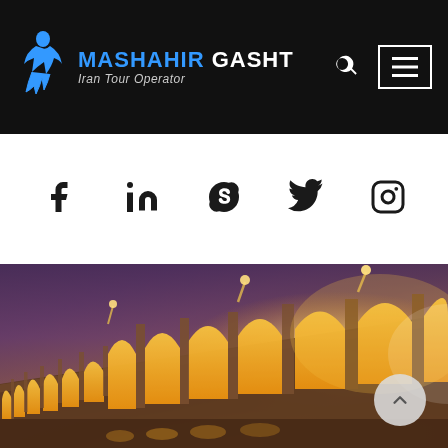MASHAHIR GASHT Iran Tour Operator — navigation header with search and menu icons
[Figure (logo): Mashahir Gasht Iran Tour Operator logo: stylized blue running figure with MASHAHIR GASHT in white/blue text and Iran Tour Operator italic tagline, on black background]
[Figure (infographic): Social media icons row: Facebook, LinkedIn, Skype, Twitter, Instagram — large black icons on white background]
[Figure (photo): Night photograph of an illuminated Persian bridge (Si-o-se-pol / Khaju Bridge in Isfahan) with golden glowing arches against a purple twilight sky]